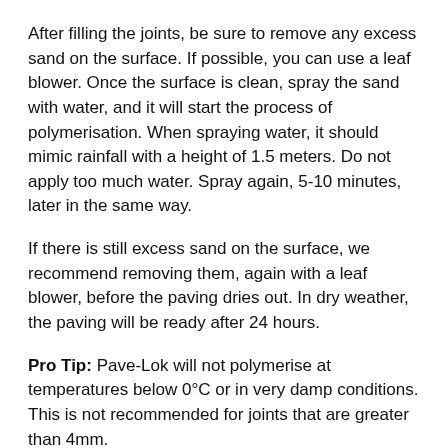After filling the joints, be sure to remove any excess sand on the surface. If possible, you can use a leaf blower. Once the surface is clean, spray the sand with water, and it will start the process of polymerisation. When spraying water, it should mimic rainfall with a height of 1.5 meters. Do not apply too much water. Spray again, 5-10 minutes, later in the same way.
If there is still excess sand on the surface, we recommend removing them, again with a leaf blower, before the paving dries out. In dry weather, the paving will be ready after 24 hours.
Pro Tip: Pave-Lok will not polymerise at temperatures below 0°C or in very damp conditions. This is not recommended for joints that are greater than 4mm.
3.  CEMENT SAND
Like the polymer sand, cement sand has excellent mechanical properties. Cement sand is harder wearing and more resistant, making it difficult to remove. You will require a particular document to...